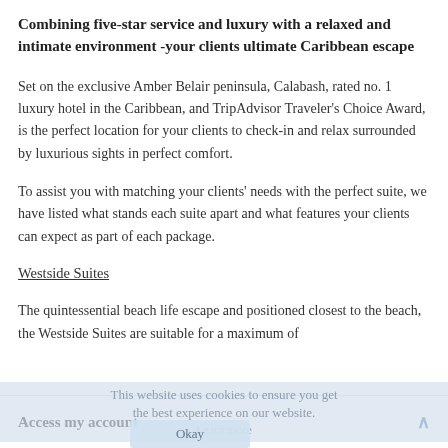Combining five-star service and luxury with a relaxed and intimate environment -your clients ultimate Caribbean escape
Set on the exclusive Amber Belair peninsula, Calabash, rated no. 1 luxury hotel in the Caribbean, and TripAdvisor Traveler's Choice Award, is the perfect location for your clients to check-in and relax surrounded by luxurious sights in perfect comfort.
To assist you with matching your clients' needs with the perfect suite, we have listed what stands each suite apart and what features your clients can expect as part of each package.
Westside Suites
The quintessential beach life escape and positioned closest to the beach, the Westside Suites are suitable for a maximum of
This website uses cookies to ensure you get the best experience on our website. Learn more Okay
Access my account